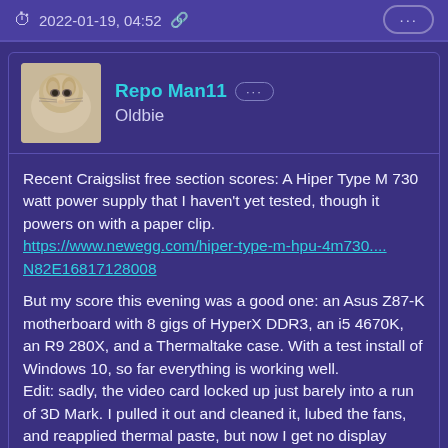2022-01-19, 04:52
Repo Man11
Oldbie
Recent Craigslist free section scores: A Hiper Type M 730 watt power supply that I haven't yet tested, though it powers on with a paper clip.
https://www.newegg.com/hiper-type-m-hpu-4m730...N82E16817128008
But my score this evening was a good one: an Asus Z87-K motherboard with 8 gigs of HyperX DDR3, an i5 4670K, an R9 280X, and a Thermaltake case. With a test install of Windows 10, so far everything is working well.
Edit: sadly, the video card locked up just barely into a run of 3D Mark. I pulled it out and cleaned it, lubed the fans, and reapplied thermal paste, but now I get no display unless I